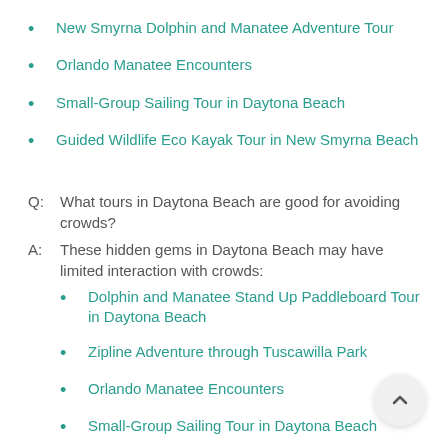New Smyrna Dolphin and Manatee Adventure Tour
Orlando Manatee Encounters
Small-Group Sailing Tour in Daytona Beach
Guided Wildlife Eco Kayak Tour in New Smyrna Beach
Q:  What tours in Daytona Beach are good for avoiding crowds?
A:  These hidden gems in Daytona Beach may have limited interaction with crowds:
Dolphin and Manatee Stand Up Paddleboard Tour in Daytona Beach
Zipline Adventure through Tuscawilla Park
Orlando Manatee Encounters
Small-Group Sailing Tour in Daytona Beach